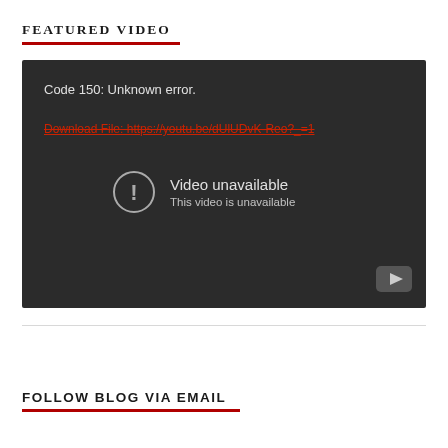FEATURED VIDEO
[Figure (screenshot): Embedded YouTube video player showing an error state. Dark background with text: 'Code 150: Unknown error.' and a red strikethrough link 'Download File: https://youtu.be/dUlUDvK-Reo?_=1'. Center shows a circle with exclamation icon, 'Video unavailable' and 'This video is unavailable'. YouTube logo in bottom right corner.]
FOLLOW BLOG VIA EMAIL